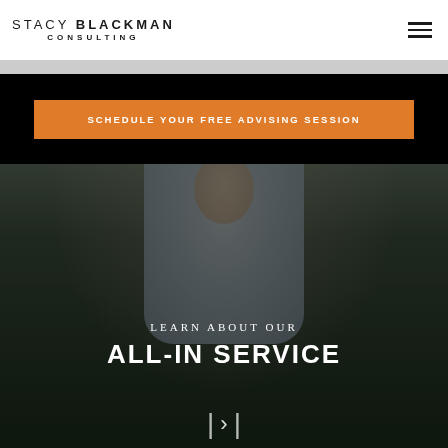STACY BLACKMAN CONSULTING
SCHEDULE YOUR FREE ADVISING SESSION
[Figure (photo): Background photo of a man in a light blue shirt with dark overlay, with text 'LEARN ABOUT OUR ALL-IN SERVICE' and an arrow button]
LEARN ABOUT OUR ALL-IN SERVICE